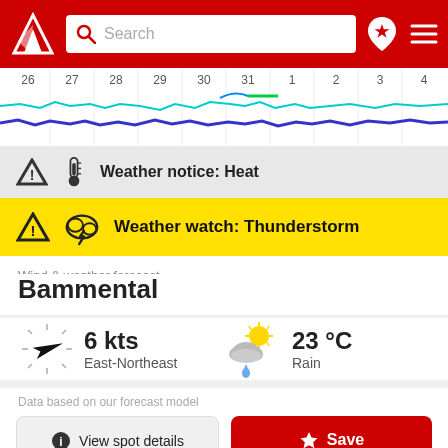[Figure (screenshot): App header with red background, white arrow/logo icon on left, search bar in center with magnifying glass icon and 'Search' placeholder, location pin icon and hamburger menu on right]
[Figure (continuous-plot): Wind/weather timeline chart showing dates 26 through 4, with colored wave lines (cyan, blue, green) representing forecast data across the date range]
Weather notice: Heat
Weather watch: Thunderstorm
Wind & weather forecast
Bammental
6 kts
East-Northeast
23 °C
Rain
Data based on our forecast model
View spot details
Save